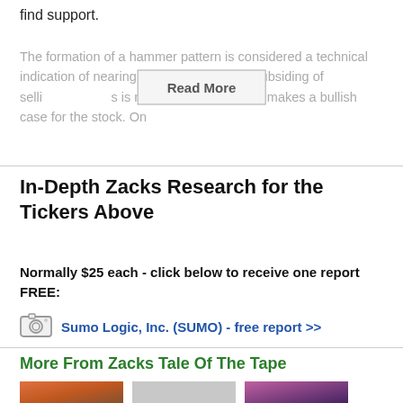find support.
The formation of a hammer pattern is considered a technical indication of nearing a bottom with likely subsiding of selli... is not the only factor that makes a bullish case for the stock. On
In-Depth Zacks Research for the Tickers Above
Normally $25 each - click below to receive one report FREE:
Sumo Logic, Inc. (SUMO) - free report >>
More From Zacks Tale Of The Tape
[Figure (photo): Three thumbnail images at bottom]
[Figure (photo): Middle thumbnail image]
[Figure (photo): Right thumbnail image]